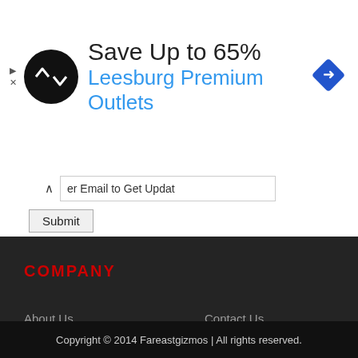[Figure (screenshot): Advertisement banner: black circular logo with double-arrow symbol, headline 'Save Up to 65%' in dark text, subline 'Leesburg Premium Outlets' in blue text, blue diamond navigation icon on right. Small play and X icons on far left.]
er Email to Get Updat
Submit
COMPANY
About Us
Contact Us
Terms of use
Privacy Policy
Archives
Copyright © 2014 Fareastgizmos | All rights reserved.